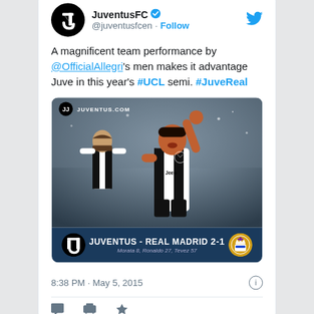[Figure (screenshot): Twitter/X tweet card from JuventusFC (@juventusfcen) with verified badge and Follow button. Tweet text reads: 'A magnificent team performance by @OfficialAllegri's men makes it advantage Juve in this year's #UCL semi. #JuveReal'. Contains embedded match image showing celebrating Juventus players with score bar: JUVENTUS - REAL MADRID 2-1, Morata 8, Ronaldo 27, Tevez 57. Timestamp: 8:38 PM · May 5, 2015.]